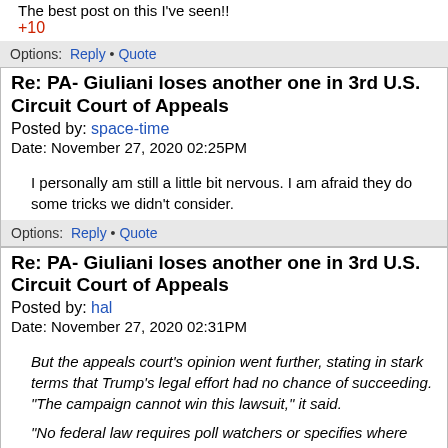The best post on this I've seen!!
+10
Options: Reply • Quote
Re: PA- Giuliani loses another one in 3rd U.S. Circuit Court of Appeals
Posted by: space-time
Date: November 27, 2020 02:25PM
I personally am still a little bit nervous. I am afraid they do some tricks we didn't consider.
Options: Reply • Quote
Re: PA- Giuliani loses another one in 3rd U.S. Circuit Court of Appeals
Posted by: hal
Date: November 27, 2020 02:31PM
But the appeals court's opinion went further, stating in stark terms that Trump's legal effort had no chance of succeeding. "The campaign cannot win this lawsuit," it said.
"No federal law requires poll watchers or specifies where they must live or how close they may stand when votes are counted. Nor does federal law govern whether to count ballots with minor state-law defects or let voters cure those defects," Bibas wrote.
[www.washingtonpost.com]